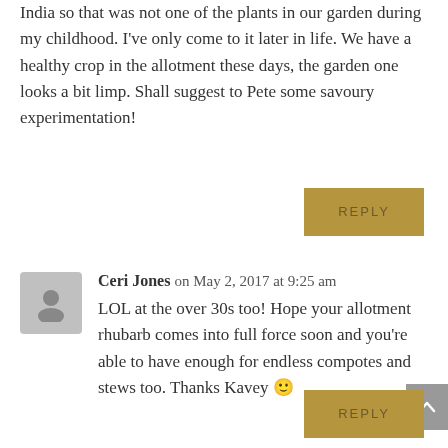India so that was not one of the plants in our garden during my childhood. I've only come to it later in life. We have a healthy crop in the allotment these days, the garden one looks a bit limp. Shall suggest to Pete some savoury experimentation!
REPLY
Ceri Jones on May 2, 2017 at 9:25 am
LOL at the over 30s too! Hope your allotment rhubarb comes into full force soon and you're able to have enough for endless compotes and stews too. Thanks Kavey 🙂
REPLY